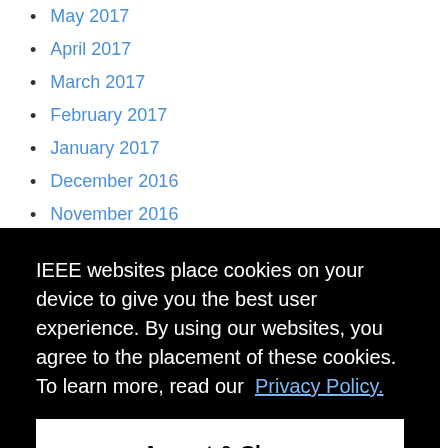May 2017
April 2017
March 2017
February 2017
January 2017
December 2016
November 2016
October 2016
September 2016
August 2016
IEEE websites place cookies on your device to give you the best user experience. By using our websites, you agree to the placement of these cookies. To learn more, read our Privacy Policy.
Accept & Close
July 2015